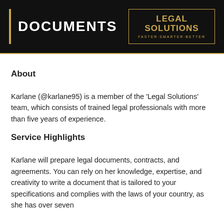[Figure (logo): Legal Solutions banner with 'DOCUMENTS' in white bold text on black background with gold accent bar on left, and 'LEGAL SOLUTIONS / FASTER·SMARTER·BETTER' in gold text on right within a gold border box.]
About
Karlane (@karlane95) is a member of the 'Legal Solutions' team, which consists of trained legal professionals with more than five years of experience.
Service Highlights
Karlane will prepare legal documents, contracts, and agreements. You can rely on her knowledge, expertise, and creativity to write a document that is tailored to your specifications and complies with the laws of your country, as she has over seven